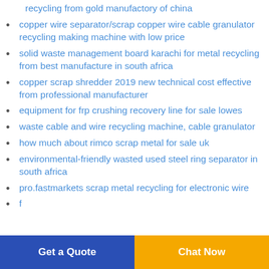recycling from gold manufactory of china
copper wire separator/scrap copper wire cable granulator recycling making machine with low price
solid waste management board karachi for metal recycling from best manufacture in south africa
copper scrap shredder 2019 new technical cost effective from professional manufacturer
equipment for frp crushing recovery line for sale lowes
waste cable and wire recycling machine, cable granulator
how much about rimco scrap metal for sale uk
environmental-friendly wasted used steel ring separator in south africa
pro.fastmarkets scrap metal recycling for electronic wire
(partial, cut off)